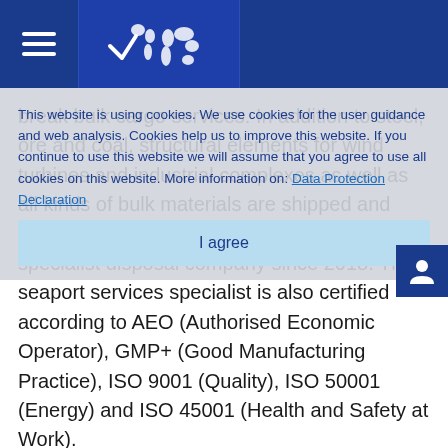[Navigation header with hamburger menu and globe/world map icon]
break bulk cargo services. In addition to steel, ore and coal, structural elements for wind turbines and industrial complexes as well as all kinds of bulk materials are shipped and stored. Weserport has also been a certified specialist disposal company since 2018. The seaport services specialist is also certified according to AEO (Authorised Economic Operator), GMP+ (Good Manufacturing Practice), ISO 9001 (Quality), ISO 50001 (Energy) and ISO 45001 (Health and Safety at Work).
This website is using cookies. We use cookies for the user guidance and web analysis. Cookies help us to improve this website. If you continue to use this website we will assume that you agree to use all cookies on this website. More information on: Data Protection Declaration
I agree
About Weserport